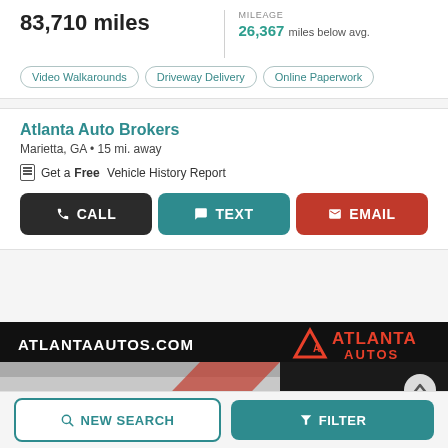83,710 miles
MILEAGE
26,367 miles below avg.
Video Walkarounds
Driveway Delivery
Online Paperwork
Atlanta Auto Brokers
Marietta, GA • 15 mi. away
Get a Free Vehicle History Report
CALL
TEXT
EMAIL
Carsforsale.com may record phone calls for business purposes, by calling you agree to Carsforsale.com's Terms and Conditions of Use and Privacy Policy.
[Figure (photo): Atlanta Autos dealership banner/photo showing ATLANTAAUTOS.COM text and Atlanta Autos logo]
NEW SEARCH
FILTER